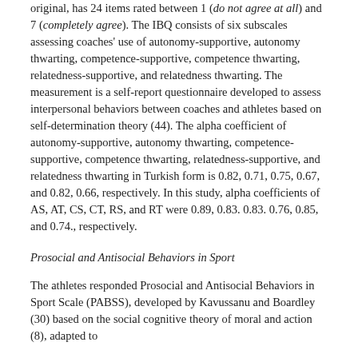original, has 24 items rated between 1 (do not agree at all) and 7 (completely agree). The IBQ consists of six subscales assessing coaches' use of autonomy-supportive, autonomy thwarting, competence-supportive, competence thwarting, relatedness-supportive, and relatedness thwarting. The measurement is a self-report questionnaire developed to assess interpersonal behaviors between coaches and athletes based on self-determination theory (44). The alpha coefficient of autonomy-supportive, autonomy thwarting, competence-supportive, competence thwarting, relatedness-supportive, and relatedness thwarting in Turkish form is 0.82, 0.71, 0.75, 0.67, and 0.82, 0.66, respectively. In this study, alpha coefficients of AS, AT, CS, CT, RS, and RT were 0.89, 0.83. 0.83. 0.76, 0.85, and 0.74., respectively.
Prosocial and Antisocial Behaviors in Sport
The athletes responded Prosocial and Antisocial Behaviors in Sport Scale (PABSS), developed by Kavussanu and Boardley (30) based on the social cognitive theory of moral and action (8), adapted to